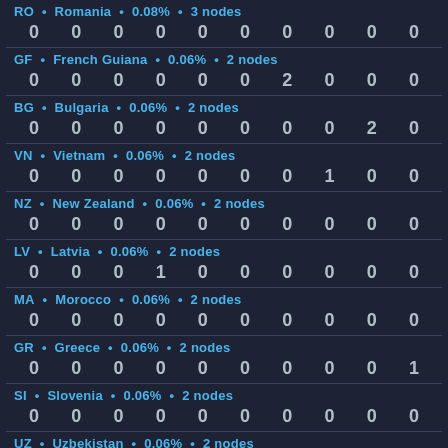RO • Romania • 0.08% • 3 nodes
0 0 0 0 0 0 0 0 0 0
GF • French Guiana • 0.06% • 2 nodes
0 0 0 0 0 0 2 0 0 0
BG • Bulgaria • 0.06% • 2 nodes
0 0 0 0 0 0 0 0 2 0
VN • Vietnam • 0.06% • 2 nodes
0 0 0 0 0 0 0 1 0 0
NZ • New Zealand • 0.06% • 2 nodes
0 0 0 0 0 0 0 0 0 0
LV • Latvia • 0.06% • 2 nodes
0 0 0 1 0 0 0 0 0 0
MA • Morocco • 0.06% • 2 nodes
0 0 0 0 0 0 0 0 0 0
GR • Greece • 0.06% • 2 nodes
0 0 0 0 0 0 0 0 0 1
SI • Slovenia • 0.06% • 2 nodes
0 0 0 0 0 0 0 0 0 0
UZ • Uzbekistan • 0.06% • 2 nodes
0 0 0 0 0 0 0 0 0 1